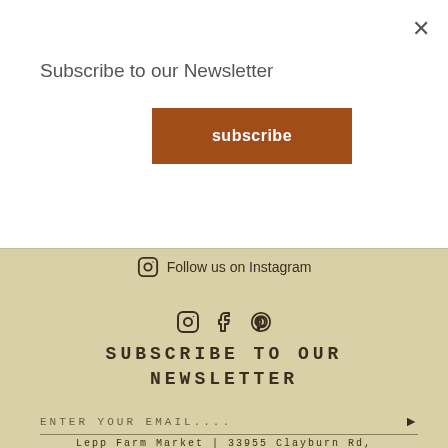Subscribe to our Newsletter
subscribe
Follow us on Instagram
[Figure (infographic): Social media icons: Instagram, Facebook, Pinterest]
SUBSCRIBE TO OUR NEWSLETTER
ENTER YOUR EMAIL....
Lepp Farm Market | 33955 Clayburn Rd,